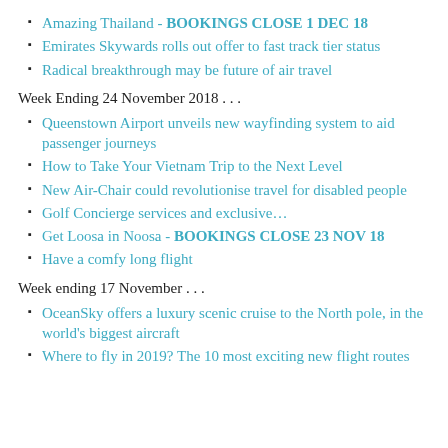Amazing Thailand - BOOKINGS CLOSE 1 DEC 18
Emirates Skywards rolls out offer to fast track tier status
Radical breakthrough may be future of air travel
Week Ending 24 November 2018 . . .
Queenstown Airport unveils new wayfinding system to aid passenger journeys
How to Take Your Vietnam Trip to the Next Level
New Air-Chair could revolutionise travel for disabled people
Golf Concierge services and exclusive…
Get Loosa in Noosa - BOOKINGS CLOSE 23 NOV 18
Have a comfy long flight
Week ending 17 November . . .
OceanSky offers a luxury scenic cruise to the North pole, in the world's biggest aircraft
Where to fly in 2019? The 10 most exciting new flight routes